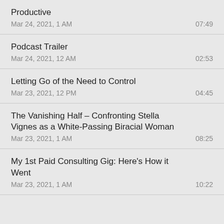Productive
Mar 24, 2021, 1 AM	07:49
Podcast Trailer
Mar 24, 2021, 12 AM	02:53
Letting Go of the Need to Control
Mar 23, 2021, 12 PM	04:45
The Vanishing Half – Confronting Stella Vignes as a White-Passing Biracial Woman
Mar 23, 2021, 1 AM	08:25
My 1st Paid Consulting Gig: Here's How it Went
Mar 23, 2021, 1 AM	10:22